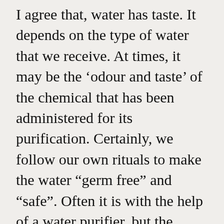I agree that, water has taste. It depends on the type of water that we receive. At times, it may be the 'odour and taste' of the chemical that has been administered for its purification. Certainly, we follow our own rituals to make the water “germ free” and “safe”. Often it is with the help of a water purifier, but the traditional practice of boiling and cooling is the popular choice.
Trying to figure out the form of water, I close my eyes. A few seconds it takes, and I start visualizing clear, flowing water from the hills. It runs into...